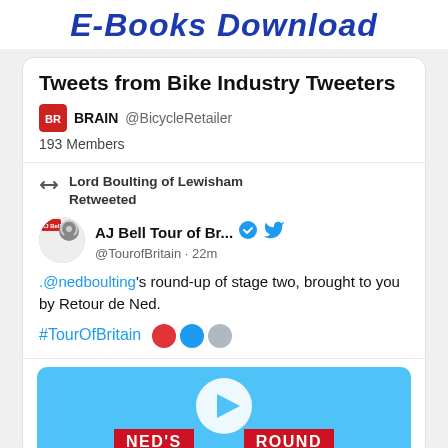E-Books Download
Tweets from Bike Industry Tweeters
BRAIN @BicycleRetailer
193 Members
Lord Boulting of Lewisham Retweeted
AJ Bell Tour of Br... @TourofBritain · 22m
.@nedboulting's round-up of stage two, brought to you by Retour de Ned.
#TourOfBritain
[Figure (screenshot): Blue video preview thumbnail showing NED'S ROUND text banner at bottom with white play button arrow circle]